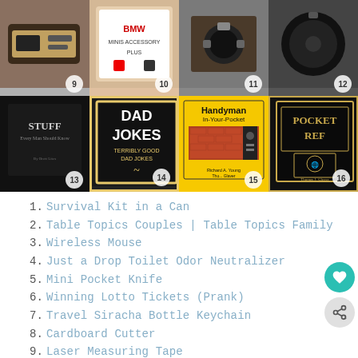[Figure (photo): Grid of product images numbered 9-16: items 9-12 on top row (laser measuring tape, hangover patch, credit card survival tool, car magnet holder), items 13-16 on bottom row (Stuff Every Man Should Know book, Dad Jokes book, Handyman In-Your-Pocket book, Pocket Ref book)]
Survival Kit in a Can
Table Topics Couples | Table Topics Family
Wireless Mouse
Just a Drop Toilet Odor Neutralizer
Mini Pocket Knife
Winning Lotto Tickets (Prank)
Travel Siracha Bottle Keychain
Cardboard Cutter
Laser Measuring Tape
Hangover Patch
Credit Card Survival Tool
Car Magnet Holder
Stuff Every Man Should Know